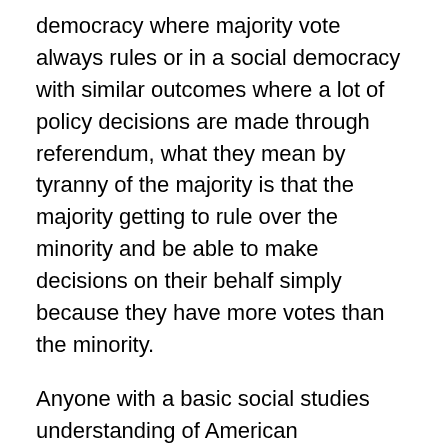democracy where majority vote always rules or in a social democracy with similar outcomes where a lot of policy decisions are made through referendum, what they mean by tyranny of the majority is that the majority getting to rule over the minority and be able to make decisions on their behalf simply because they have more votes than the minority.
Anyone with a basic social studies understanding of American government and our Constitution that you could get at any quality high school in this country, knows that the majority doesn't always get their way.
Look at the U.S. Senate where you almost always 60-100 votes to pass anything, or our constitutional amendment process, where you need 2/3 majority from both the House and Senate in Congress, as well as 34-50 states to